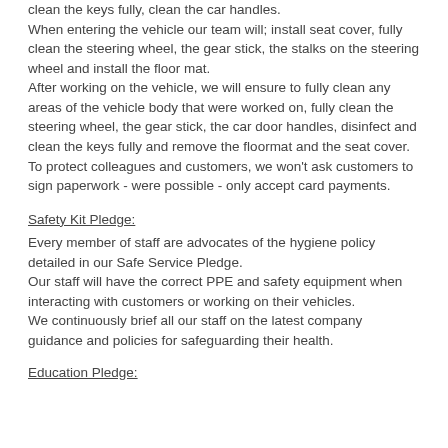clean the keys fully, clean the car handles. When entering the vehicle our team will; install seat cover, fully clean the steering wheel, the gear stick, the stalks on the steering wheel and install the floor mat. After working on the vehicle, we will ensure to fully clean any areas of the vehicle body that were worked on, fully clean the steering wheel, the gear stick, the car door handles, disinfect and clean the keys fully and remove the floormat and the seat cover. To protect colleagues and customers, we won't ask customers to sign paperwork - were possible - only accept card payments.
Safety Kit Pledge:
Every member of staff are advocates of the hygiene policy detailed in our Safe Service Pledge. Our staff will have the correct PPE and safety equipment when interacting with customers or working on their vehicles. We continuously brief all our staff on the latest company guidance and policies for safeguarding their health.
Education Pledge: